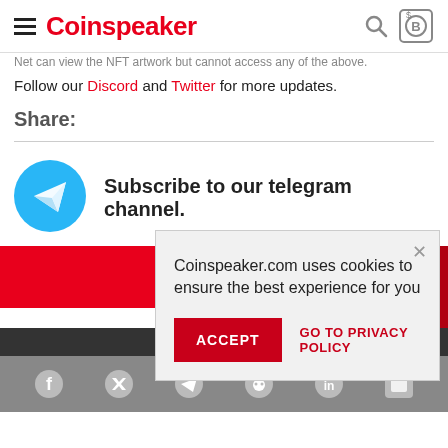Coinspeaker
Follow our Discord and Twitter for more updates.
Share:
[Figure (logo): Telegram icon circle with paper plane symbol]
Subscribe to our telegram channel.
[Figure (infographic): Red banner/advertisement area]
Coinspeaker.com uses cookies to ensure the best experience for you
ACCEPT
GO TO PRIVACY POLICY
Social media icons: Facebook, Twitter, Telegram, Reddit, LinkedIn, RSS